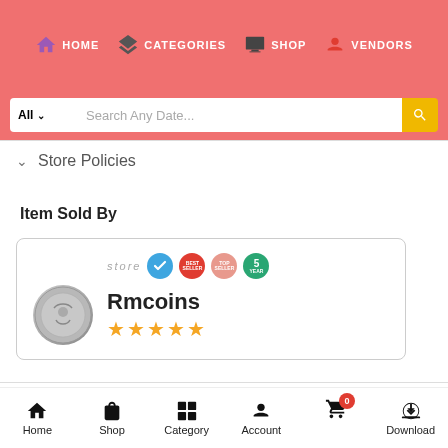HOME  CATEGORIES  SHOP  VENDORS
All  Search Any Date...
Store Policies
Item Sold By
[Figure (other): Store card for Rmcoins showing store badge icons, a coin image, store name Rmcoins, and 5 orange stars rating]
Categories: Notes, World Note
Home  Shop  Category  Account  0  Download